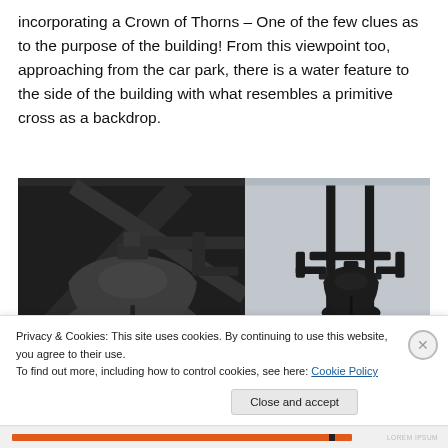incorporating a Crown of Thorns – One of the few clues as to the purpose of the building! From this viewpoint too, approaching from the car park, there is a water feature to the side of the building with what resembles a primitive cross as a backdrop.
[Figure (photo): Two side-by-side photographs of a church bell on a metal frame structure. The left photo is a close-up shot showing the bell from below against a dark background. The right photo shows the same or similar bell from a distance against a grey overcast sky.]
Privacy & Cookies: This site uses cookies. By continuing to use this website, you agree to their use.
To find out more, including how to control cookies, see here: Cookie Policy